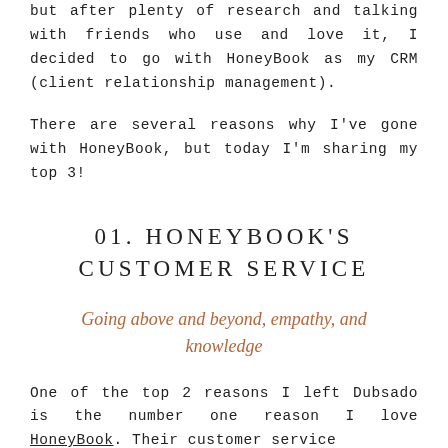but after plenty of research and talking with friends who use and love it, I decided to go with HoneyBook as my CRM (client relationship management).
There are several reasons why I've gone with HoneyBook, but today I'm sharing my top 3!
01. HONEYBOOK'S CUSTOMER SERVICE
Going above and beyond, empathy, and knowledge
One of the top 2 reasons I left Dubsado is the number one reason I love HoneyBook. Their customer service